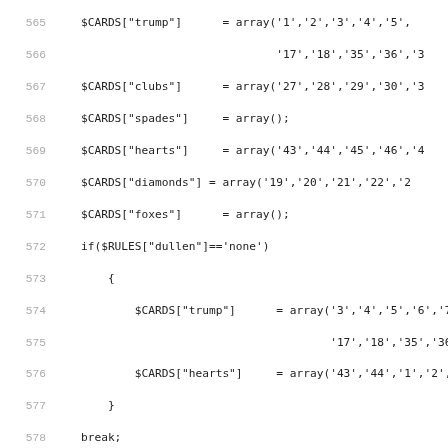Source code listing lines 565-597, PHP card game logic
565: $CARDS["trump"] = array('1','2','3','4','5',...
566:                              '17','18','35','36',...
567:     $CARDS["clubs"]   = array('27','28','29','30',...
568:     $CARDS["spades"]  = array();
569:     $CARDS["hearts"]  = array('43','44','45','46',...
570:     $CARDS["diamonds"] = array('19','20','21','22',...
571:     $CARDS["foxes"]   = array();
572:     if($RULES["dullen"]=='none')
573:         {
574:             $CARDS["trump"]   = array('3','4','5','6','7...
575:                              '17','18','35','36...
576:             $CARDS["hearts"]  = array('43','44','1','2',...
577:         }
578:     break;
579:     case "heart":
580:         $CARDS["trump"]   = array('1','2','3','4','5','6...
581:                              '17','18','43','44','4...
582:         $CARDS["clubs"]   = array('27','28','29','30','3...
583:         $CARDS["spades"]  = array('35','36','37','38','3...
584:         $CARDS["hearts"]  = array();
585:         $CARDS["diamonds"] = array('19','20','21','22','2...
586:         $CARDS["foxes"]   = array();
587:         if($RULES["dullen"]=='none')
588:             {
589:                 $CARDS["trump"]   = array('3','4','5','6','7...
590:                              '17','18','43','44','1','2...
591:             }
592:         break;
593:     }
594: }
595:
596: function mysort($cards,$gametype)
597: {